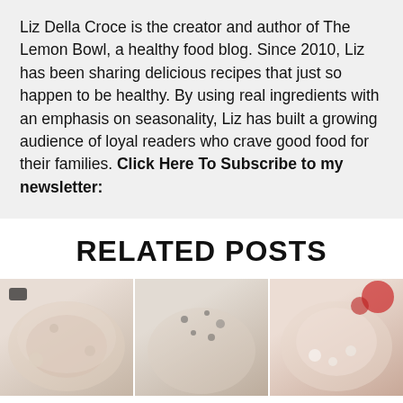Liz Della Croce is the creator and author of The Lemon Bowl, a healthy food blog. Since 2010, Liz has been sharing delicious recipes that just so happen to be healthy. By using real ingredients with an emphasis on seasonality, Liz has built a growing audience of loyal readers who crave good food for their families. Click Here To Subscribe to my newsletter:
RELATED POSTS
[Figure (photo): Three food photos showing dishes, partially cropped at the bottom of the page]